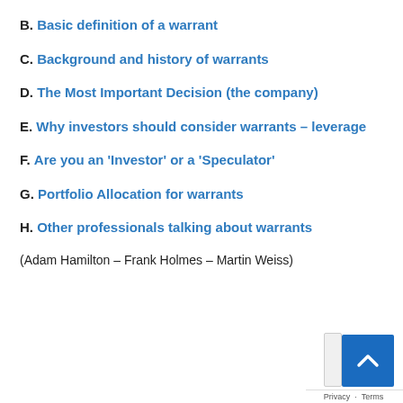B. Basic definition of a warrant
C. Background and history of warrants
D. The Most Important Decision (the company)
E. Why investors should consider warrants – leverage
F. Are you an 'Investor' or a 'Speculator'
G. Portfolio Allocation for warrants
H. Other professionals talking about warrants
(Adam Hamilton – Frank Holmes – Martin Weiss)